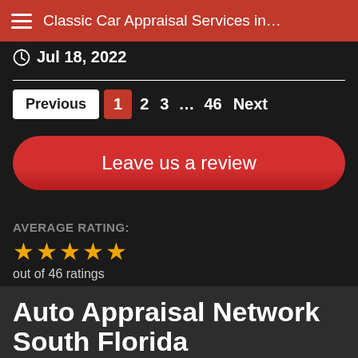Classic Car Appraisal Services in…
Jul 18, 2022
Previous  1  2  3  ...  46  Next
Leave us a review
AVERAGE RATING:
★★★★½ out of 46 ratings
Auto Appraisal Network South Florida